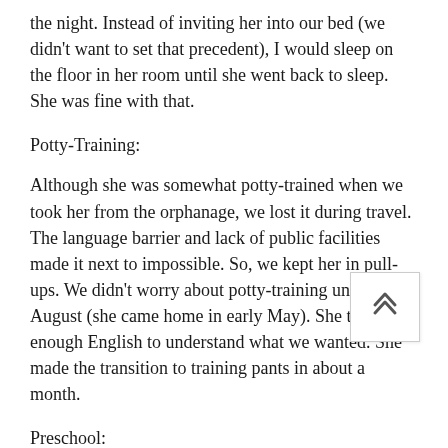the night. Instead of inviting her into our bed (we didn't want to set that precedent), I would sleep on the floor in her room until she went back to sleep. She was fine with that.
Potty-Training:
Although she was somewhat potty-trained when we took her from the orphanage, we lost it during travel. The language barrier and lack of public facilities made it next to impossible. So, we kept her in pull-ups. We didn't worry about potty-training until mid-August (she came home in early May). She then had enough English to understand what we wanted. She made the transition to training pants in about a month.
Preschool:
We were sneaky about this one, too. In May and June, when I would go to pick my son up, I would go early and have Ashley play outside with the kids. She got to know the teacher and